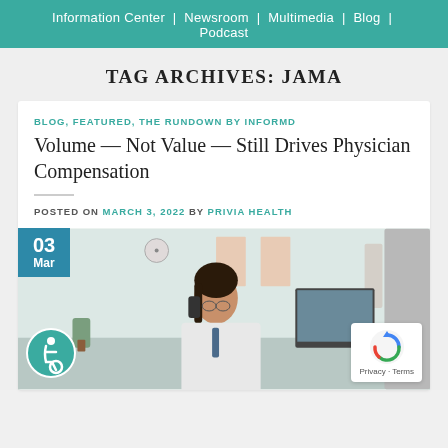Information Center | Newsroom | Multimedia | Blog | Podcast
TAG ARCHIVES: JAMA
BLOG, FEATURED, THE RUNDOWN BY INFORMD
Volume — Not Value — Still Drives Physician Compensation
POSTED ON MARCH 3, 2022 BY PRIVIA HEALTH
[Figure (photo): A female physician in a white coat talking on the phone at a medical office desk, with anatomical posters and medical equipment visible in the background. A date badge showing 03 Mar appears in top-left, an accessibility icon in the bottom-left, and a reCAPTCHA Privacy-Terms badge in the bottom-right.]